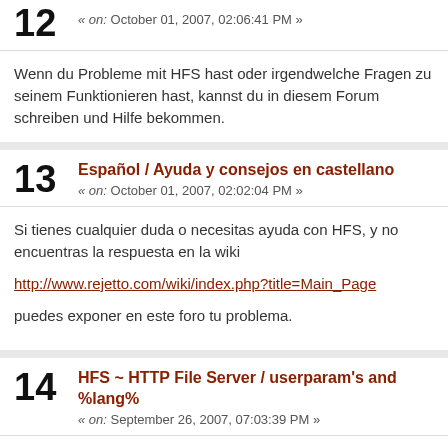12 « on: October 01, 2007, 02:06:41 PM »
Wenn du Probleme mit HFS hast oder irgendwelche Fragen zu seinem Funktionieren hast, kannst du in diesem Forum schreiben und Hilfe bekommen.
13 Español / Ayuda y consejos en castellano « on: October 01, 2007, 02:02:04 PM »
Si tienes cualquier duda o necesitas ayuda con HFS, y no encuentras la respuesta en la wiki

http://www.rejetto.com/wiki/index.php?title=Main_Page

puedes exponer en este foro tu problema.
14 HFS ~ HTTP File Server / userparam's and %lang% « on: September 26, 2007, 07:03:39 PM »
The language feature may be very interesting, but:
1. I think it will be difficult to get the language from browser info or based on the ip.
2. not everybody who uses hfs may use or understand more than one language, and even if they do, it's likely that guests with other